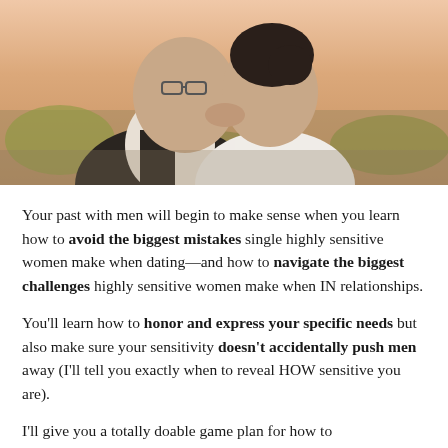[Figure (photo): A couple kissing outdoors. A middle-aged man wearing glasses and a dark vest over a white shirt kisses a woman with dark hair pulled up, wearing a white top. Background shows a soft outdoor landscape with warm sunset tones.]
Your past with men will begin to make sense when you learn how to avoid the biggest mistakes single highly sensitive women make when dating—and how to navigate the biggest challenges highly sensitive women make when IN relationships.
You'll learn how to honor and express your specific needs but also make sure your sensitivity doesn't accidentally push men away (I'll tell you exactly when to reveal HOW sensitive you are).
I'll give you a totally doable game plan for how to